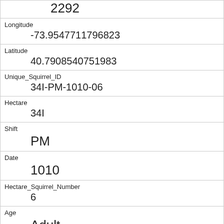| Field | Value |
| --- | --- |
|  | 2292 |
| Longitude | -73.9547711796823 |
| Latitude | 40.7908540751983 |
| Unique_Squirrel_ID | 34I-PM-1010-06 |
| Hectare | 34I |
| Shift | PM |
| Date | 1010 |
| Hectare_Squirrel_Number | 6 |
| Age | Adult |
| Primary_Fur_Color | Gray |
| Highlight_Fur_Color |  |